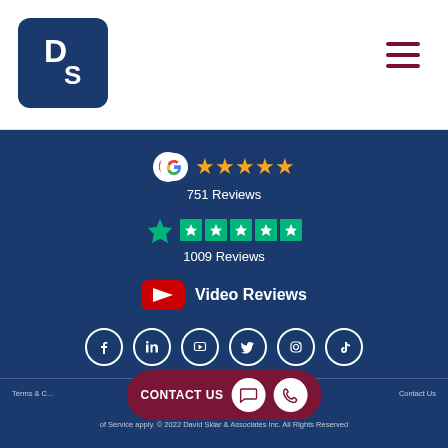[Figure (logo): DS logo — dark blue square with rounded corners and white DS letters]
[Figure (infographic): Hamburger menu icon — three dark red horizontal lines]
[Figure (infographic): Google 5-star rating: Google G logo followed by 5 gold stars]
751 Reviews
[Figure (infographic): Trustpilot rating: green Trustpilot star logo followed by 5 green star boxes]
1009 Reviews
[Figure (infographic): YouTube play button logo]
Video Reviews
[Figure (infographic): Social media icons row: Facebook, LinkedIn, YouTube, Twitter, Instagram, TikTok — white circle outlines on dark blue]
Terms & C... Contact Us
This site is prote... Policy and Terms of Service apply. © 2022 David Sklar & Associates Inc. All Rights Reserved
[Figure (infographic): CONTACT US pill button with chat and phone icon circles on dark maroon background]